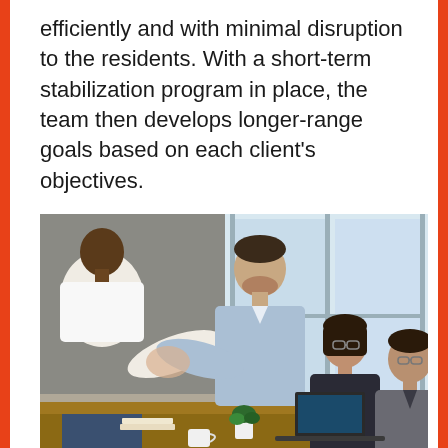efficiently and with minimal disruption to the residents. With a short-term stabilization program in place, the team then develops longer-range goals based on each client's objectives.
[Figure (photo): Business meeting scene showing four professionals in a modern office with large windows. Two men are shaking hands — one in a white shirt from behind, one in a light blue shirt smiling. A woman and another man in a suit are seated at a table with laptops and a small potted plant.]